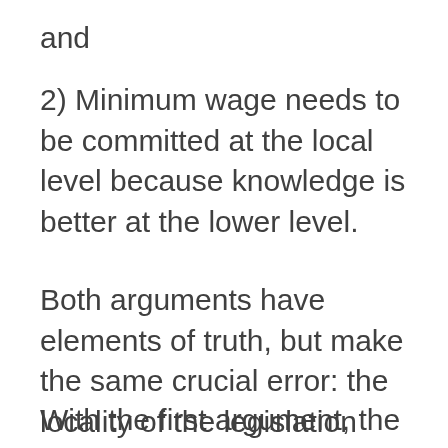and
2) Minimum wage needs to be committed at the local level because knowledge is better at the lower level.
Both arguments have elements of truth, but make the same crucial error: the locality of the legislation can override economic laws.
With the first argument, the idea is